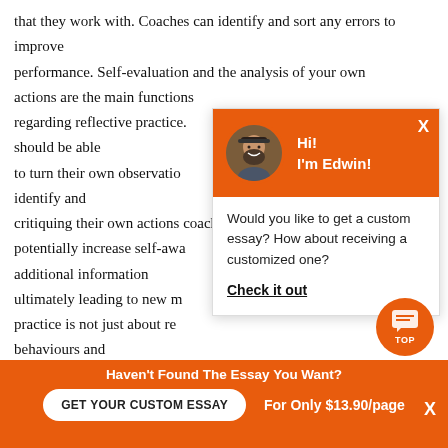that they work with. Coaches can identify and sort any errors to improve
performance. Self-evaluation and the analysis of your own actions are the main functions
regarding reflective practice. should be able
to turn their own observations identify and
critiquing their own actions coach can
potentially increase self-awareness additional information
ultimately leading to new methods practice is not just about reflecting on behaviours and
skills. The consideration of how and why coaches do things and
[Figure (other): Chat popup overlay featuring a profile photo of a bearded man named Edwin with greeting 'Hi! I'm Edwin!' on an orange header, and body text: 'Would you like to get a custom essay? How about receiving a customized one? Check it out']
Haven't Found The Essay You Want?
GET YOUR CUSTOM ESSAY    For Only $13.90/page